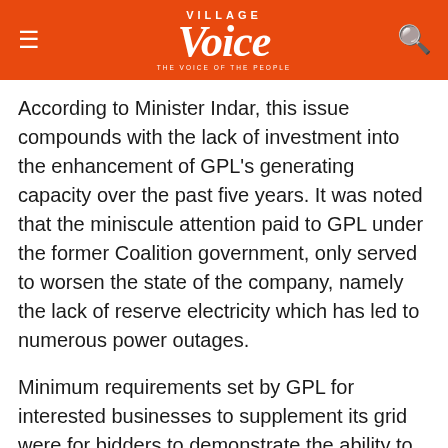Village Voice
According to Minister Indar, this issue compounds with the lack of investment into the enhancement of GPL's generating capacity over the past five years. It was noted that the miniscule attention paid to GPL under the former Coalition government, only served to worsen the state of the company, namely the lack of reserve electricity which has led to numerous power outages.
Minimum requirements set by GPL for interested businesses to supplement its grid were for bidders to demonstrate the ability to deliver a complete project within two (2) months of an agreement and demonstrate access to competent personnel with operation and maintenance experience at a minimum of one facility of similar size.